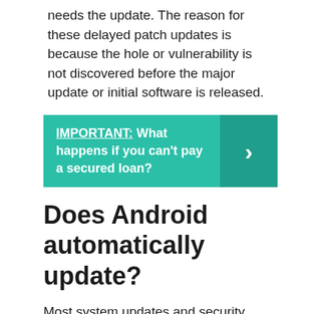needs the update. The reason for these delayed patch updates is because the hole or vulnerability is not discovered before the major update or initial software is released.
[Figure (infographic): Teal callout box with bold white text: 'IMPORTANT: What happens if you can't pay a secured loan?' with a darker teal right-arrow chevron section on the right.]
Does Android automatically update?
Most system updates and security patches happen automatically. To check if an update is available: Open your device's Settings app. Tap Security.